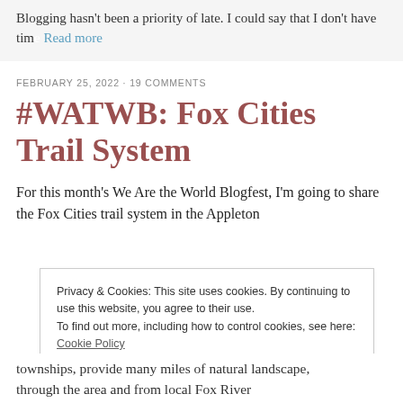Blogging hasn't been a priority of late. I could say that I don't have time Read more
FEBRUARY 25, 2022 · 19 COMMENTS
#WATWB: Fox Cities Trail System
For this month's We Are the World Blogfest, I'm going to share the Fox Cities trail system in the Appleton
Privacy & Cookies: This site uses cookies. By continuing to use this website, you agree to their use.
To find out more, including how to control cookies, see here:
Cookie Policy
Close and accept
townships, provide many miles of natural landscape, through the area and from local Fox River